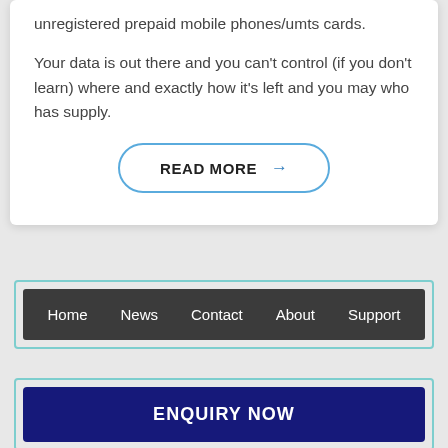unregistered prepaid mobile phones/umts cards.
Your data is out there and you can’t control (if you don’t learn) where and exactly how it’s left and you may who has supply.
[Figure (other): READ MORE button with right arrow, pill-shaped border in blue]
[Figure (other): Navigation bar with dark background containing menu items: Home, News, Contact, About, Support, enclosed in a teal-bordered outer box]
[Figure (other): ENQUIRY NOW button with dark navy background, white bold text, enclosed in a teal-bordered outer box]